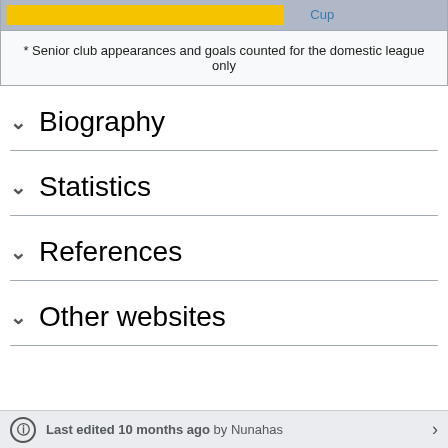| (yellow cell) | Cup |
| --- | --- |
| * Senior club appearances and goals counted for the domestic league only |  |
Biography
Statistics
References
Other websites
Last edited 10 months ago by Nunahas